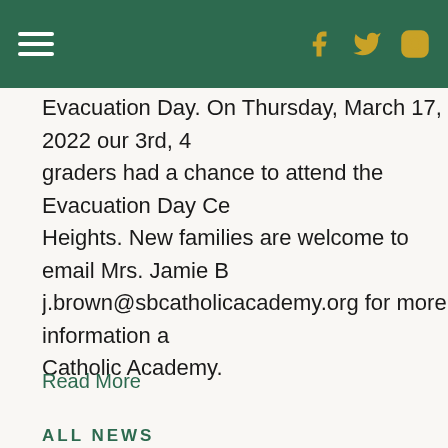Navigation bar with hamburger menu and social icons (Facebook, Twitter, Instagram)
Evacuation Day. On Thursday, March 17, 2022 our 3rd, 4th graders had a chance to attend the Evacuation Day Cer Heights. New families are welcome to email Mrs. Jamie B j.brown@sbcatholicacademy.org for more information a Catholic Academy.
Read More
ALL NEWS
Archive
▼ 2022